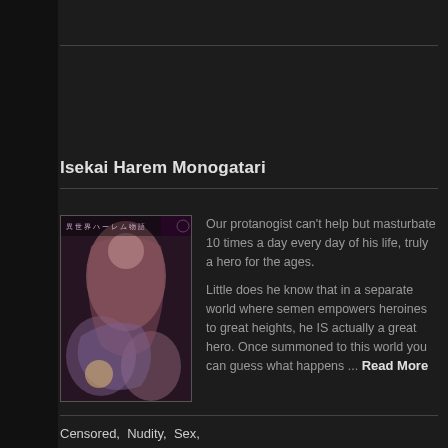Isekai Harem Monogatari
[Figure (illustration): Anime/manga style cover art showing multiple female characters in an intimate scene]
Our protanogist can't help but masturbate 10 times a day every day of his life, truly a hero for the ages.

Little does he know that in a separate world where semen empowers heroines to great heights, he IS actually a great hero. Once summoned to this world you can guess what happens ... Read More
Censored,  Nudity,  Sex,
Skimpy Clothing,  Harem,  Juujin,
Pornography,  Ahegao,  Anal Fingering,